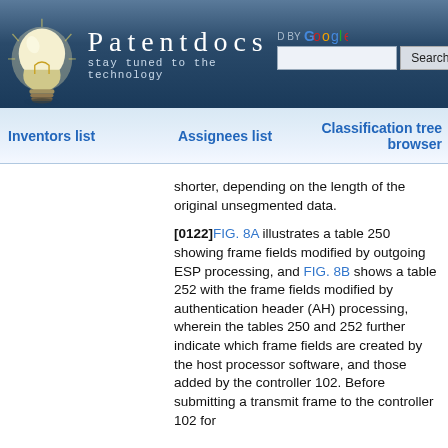Patentdocs — stay tuned to the technology
Inventors list | Assignees list | Classification tree browser
shorter, depending on the length of the original unsegmented data.
[0122] FIG. 8A illustrates a table 250 showing frame fields modified by outgoing ESP processing, and FIG. 8B shows a table 252 with the frame fields modified by authentication header (AH) processing, wherein the tables 250 and 252 further indicate which frame fields are created by the host processor software, and those added by the controller 102. Before submitting a transmit frame to the controller 102 for